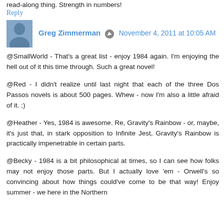read-along thing. Strength in numbers!
Reply
Greg Zimmerman  November 4, 2011 at 10:05 AM
@SmallWorld - That's a great list - enjoy 1984 again. I'm enjoying the hell out of it this time through. Such a great novel!
@Red - I didn't realize until last night that each of the three Dos Passos novels is about 500 pages. Whew - now I'm also a little afraid of it. ;)
@Heather - Yes, 1984 is awesome. Re, Gravity's Rainbow - or, maybe, it's just that, in stark opposition to Infinite Jest, Gravity's Rainbow is practically impenetrable in certain parts.
@Becky - 1984 is a bit philosophical at times, so I can see how folks may not enjoy those parts. But I actually love 'em - Orwell's so convincing about how things could've come to be that way! Enjoy summer - we here in the Northern